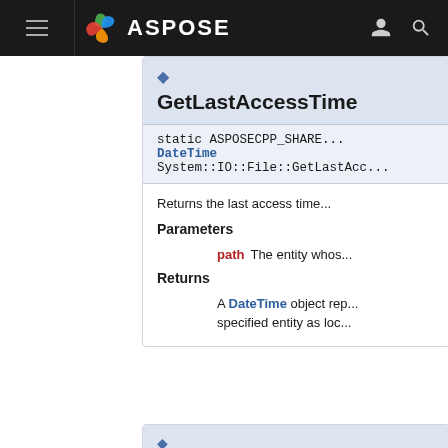ASPOSE navigation header
GetLastAccessTime
static ASPOSECPP_SHARE... DateTime System::IO::File::GetLastAcce...
Returns the last access time...
Parameters
path The entity whos...
Returns
A DateTime object rep... specified entity as loc...